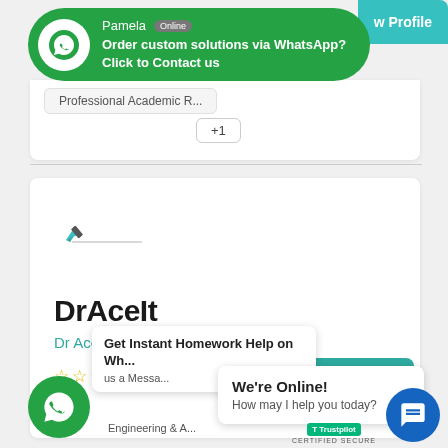[Figure (screenshot): WhatsApp chat widget with Pamela, green bubble banner saying 'Order custom solutions via WhatsApp? Click to Contact us']
Pamela Online
Order custom solutions via WhatsApp? Click to Contact us
View Profile
Professional Academic R...
+1
[Figure (logo): DrAceIt logo mark - small pen/pencil icon with line]
DrAceIt
Dr AceIt
[Figure (other): Five empty star rating icons]
[Figure (screenshot): View Profile teal button]
View Profile
[Figure (screenshot): WhatsApp green circle icon bottom left]
Get Instant Homework Help on Wh... us a Messa...
Engineering & A...
We're Online!
How may I help you today?
[Figure (other): Blue chat circle icon bottom right]
T... CERTIFIED SECURE